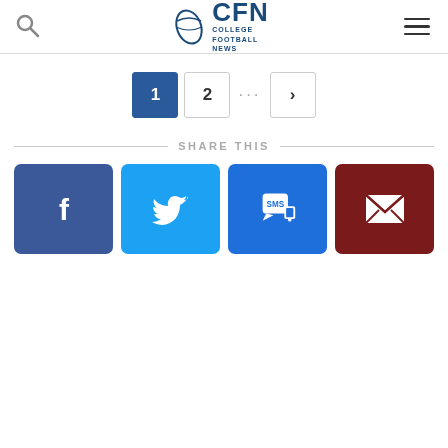CFN - College Football News
Pagination: 1 (active), 2, ..., next
SHARE THIS
[Figure (infographic): Four social share buttons: Facebook (blue), Twitter (light blue), SMS (blue), Email (dark red)]